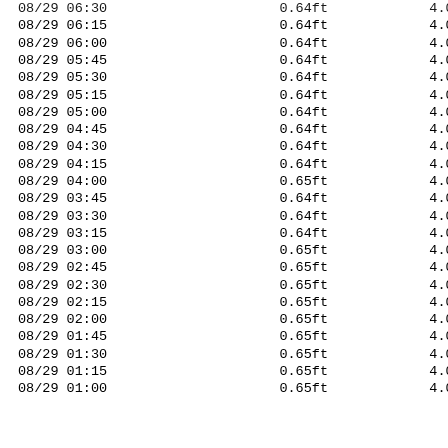| Date/Time | Stage | Flow |
| --- | --- | --- |
| 08/29 06:30 | 0.64ft | 4.00cfs |
| 08/29 06:15 | 0.64ft | 4.00cfs |
| 08/29 06:00 | 0.64ft | 4.00cfs |
| 08/29 05:45 | 0.64ft | 4.00cfs |
| 08/29 05:30 | 0.64ft | 4.00cfs |
| 08/29 05:15 | 0.64ft | 4.00cfs |
| 08/29 05:00 | 0.64ft | 4.00cfs |
| 08/29 04:45 | 0.64ft | 4.00cfs |
| 08/29 04:30 | 0.64ft | 4.00cfs |
| 08/29 04:15 | 0.64ft | 4.00cfs |
| 08/29 04:00 | 0.65ft | 4.00cfs |
| 08/29 03:45 | 0.64ft | 4.00cfs |
| 08/29 03:30 | 0.64ft | 4.00cfs |
| 08/29 03:15 | 0.64ft | 4.00cfs |
| 08/29 03:00 | 0.65ft | 4.00cfs |
| 08/29 02:45 | 0.65ft | 4.00cfs |
| 08/29 02:30 | 0.65ft | 4.00cfs |
| 08/29 02:15 | 0.65ft | 4.00cfs |
| 08/29 02:00 | 0.65ft | 4.00cfs |
| 08/29 01:45 | 0.65ft | 4.00cfs |
| 08/29 01:30 | 0.65ft | 4.00cfs |
| 08/29 01:15 | 0.65ft | 4.00cfs |
| 08/29 01:00 | 0.65ft | 4.00cfs |